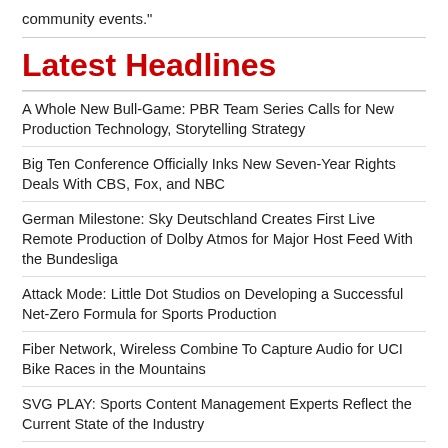community events."
Latest Headlines
A Whole New Bull-Game: PBR Team Series Calls for New Production Technology, Storytelling Strategy
Big Ten Conference Officially Inks New Seven-Year Rights Deals With CBS, Fox, and NBC
German Milestone: Sky Deutschland Creates First Live Remote Production of Dolby Atmos for Major Host Feed With the Bundesliga
Attack Mode: Little Dot Studios on Developing a Successful Net-Zero Formula for Sports Production
Fiber Network, Wireless Combine To Capture Audio for UCI Bike Races in the Mountains
SVG PLAY: Sports Content Management Experts Reflect the Current State of the Industry
SVG New Sponsor Spotlight: NETGEAR’s John Henkel on Supplying Turnkey Solutions for a Variety of Professional, Collegiate Productions
Partners Promote WIND ...